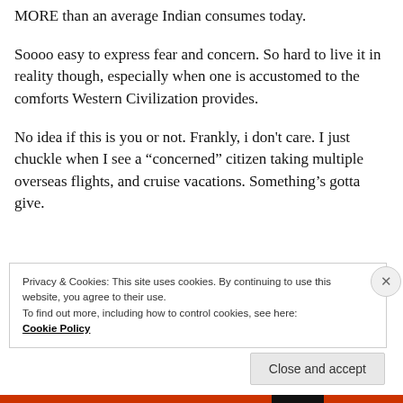MORE than an average Indian consumes today.
Soooo easy to express fear and concern. So hard to live it in reality though, especially when one is accustomed to the comforts Western Civilization provides.
No idea if this is you or not. Frankly, i don’t care. I just chuckle when I see a “concerned” citizen taking multiple overseas flights, and cruise vacations. Something’s gotta give.
Privacy & Cookies: This site uses cookies. By continuing to use this website, you agree to their use.
To find out more, including how to control cookies, see here: Cookie Policy
Close and accept